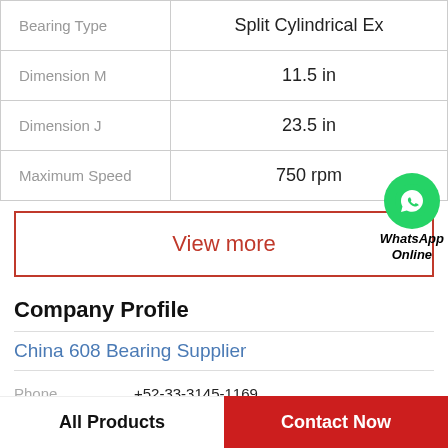| Bearing Type | Split Cylindrical Ex |
| Dimension M | 11.5 in |
| Dimension J | 23.5 in |
| Maximum Speed | 750 rpm |
View more
[Figure (logo): WhatsApp green circle icon with phone handset, labeled WhatsApp Online]
Company Profile
China 608 Bearing Supplier
Phone  +52-33-3145-1169
All Products   Contact Now